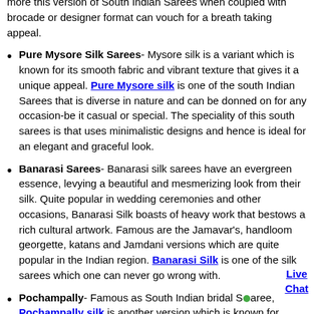more this version of South Indian Sarees when coupled with brocade or designer format can vouch for a breath taking appeal.
Pure Mysore Silk Sarees- Mysore silk is a variant which is known for its smooth fabric and vibrant texture that gives it a unique appeal. Pure Mysore silk is one of the south Indian Sarees that is diverse in nature and can be donned on for any occasion-be it casual or special. The speciality of this south sarees is that uses minimalistic designs and hence is ideal for an elegant and graceful look.
Banarasi Sarees- Banarasi silk sarees have an evergreen essence, levying a beautiful and mesmerizing look from their silk. Quite popular in wedding ceremonies and other occasions, Banarasi Silk boasts of heavy work that bestows a rich cultural artwork. Famous are the Jamavar's, handloom georgette, katans and Jamdani versions which are quite popular in the Indian region. Banarasi Silk is one of the silk sarees which one can never go wrong with.
Pochampally- Famous as South Indian bridal Saree, Pochampally silk is another version which is known for